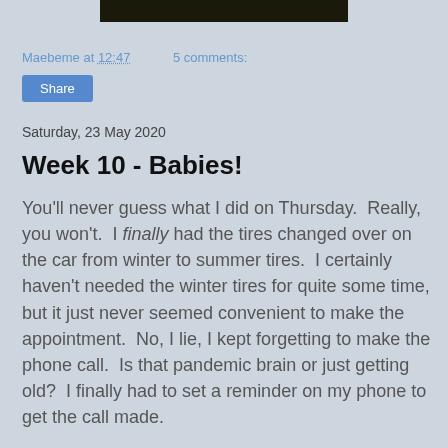[Figure (photo): Dark photo strip at top of page, partially visible]
Maebeme at 12:47    5 comments:
Share
Saturday, 23 May 2020
Week 10 - Babies!
You'll never guess what I did on Thursday.  Really, you won't.  I finally had the tires changed over on the car from winter to summer tires.  I certainly haven't needed the winter tires for quite some time, but it just never seemed convenient to make the appointment.  No, I lie, I kept forgetting to make the phone call.  Is that pandemic brain or just getting old?  I finally had to set a reminder on my phone to get the call made.